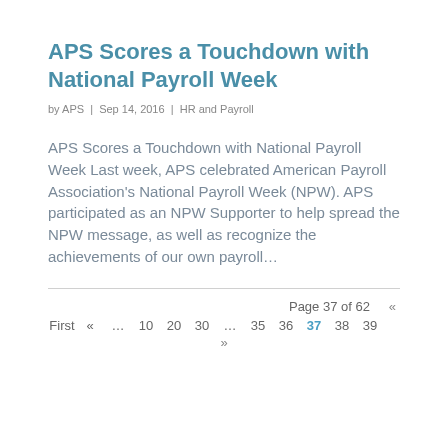APS Scores a Touchdown with National Payroll Week
by APS | Sep 14, 2016 | HR and Payroll
APS Scores a Touchdown with National Payroll Week Last week, APS celebrated American Payroll Association's National Payroll Week (NPW). APS participated as an NPW Supporter to help spread the NPW message, as well as recognize the achievements of our own payroll…
Page 37 of 62  «  First  «  …  10  20  30  …  35  36  37  38  39  »